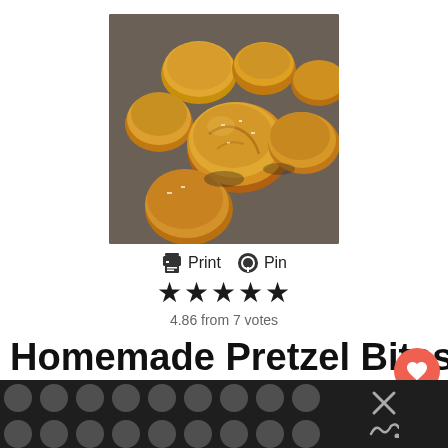[Figure (photo): Close-up photo of golden-brown pretzel bites on a baking sheet, round and salted on top]
Print  Pin
★★★★★
4.86 from 7 votes
Homemade Pretzel Bites for the Bread Machine
Pretzel Bites just like from the mall! Make your own at home using the bread machine.
[Figure (photo): WHAT'S NEXT panel showing thumbnail of a food item and text: Spoilers {Recipe:...]
[Figure (other): Bottom dark bar with polka-dot/circle pattern and close button X]